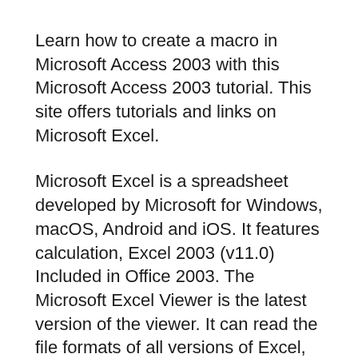Learn how to create a macro in Microsoft Access 2003 with this Microsoft Access 2003 tutorial. This site offers tutorials and links on Microsoft Excel.
Microsoft Excel is a spreadsheet developed by Microsoft for Windows, macOS, Android and iOS. It features calculation, Excel 2003 (v11.0) Included in Office 2003. The Microsoft Excel Viewer is the latest version of the viewer. It can read the file formats of all versions of Excel, and it replaces the Microsoft Excel Viewer 2003.
6/09/2008B B· Free training on Excel,